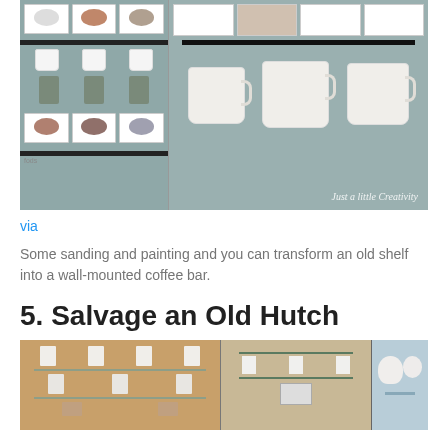[Figure (photo): Two-panel photo showing a white wall-mounted shelf unit with small drawer boxes and hooks holding mugs, before and after transformation. Left panel shows the full shelf unit with three rows of glass-fronted boxes, a hook bar with hanging mugs, and plants. Right panel shows a close-up of mugs hanging from black hooks on the shelf bar. Watermark reads 'Just a little Creativity'.]
via
Some sanding and painting and you can transform an old shelf into a wall-mounted coffee bar.
5. Salvage an Old Hutch
[Figure (photo): Three-panel photo showing hutch furniture pieces. Left panel shows a painted hutch with shelves displaying white dishes. Middle panel shows a light blue-painted hutch outdoors. Right panel shows a close-up of a light blue surface with white tea set items.]